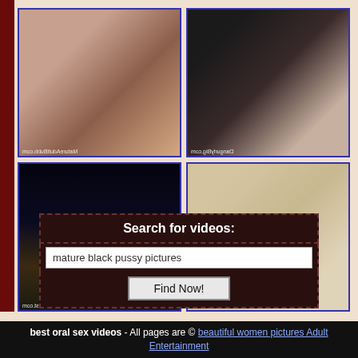[Figure (photo): Four thumbnail video images arranged in a 2x2 grid with blue borders on a beige background]
Search for videos:
mature black pussy pictures
Find Now!
best oral sex videos - All pages are © beautiful women pictures Adult Entertainment